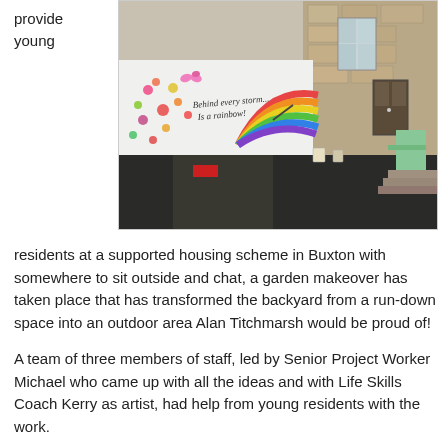provide young
[Figure (photo): Outdoor courtyard of a supported housing scheme in Buxton showing a white wall decorated with a painted rainbow, butterflies, flowers, and the text 'Behind every storm... Is a rainbow!' A stone building is in the background.]
residents at a supported housing scheme in Buxton with somewhere to sit outside and chat, a garden makeover has taken place that has transformed the backyard from a run-down space into an outdoor area Alan Titchmarsh would be proud of!
A team of three members of staff, led by Senior Project Worker Michael who came up with all the ideas and with Life Skills Coach Kerry as artist, had help from young residents with the work.
Weeds have been cleared, old pots removed, the shed has been painted and the wall given a completely new look with a rainbow and positive messages to brighten the space.